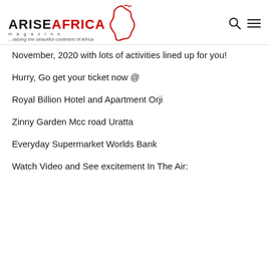ARISE AFRICA magazine ...raising the beautiful continent of Africa
November, 2020 with lots of activities lined up for you!
Hurry, Go get your ticket now @
Royal Billion Hotel and Apartment Orji
Zinny Garden Mcc road Uratta
Everyday Supermarket Worlds Bank
Watch Video and See excitement In The Air: